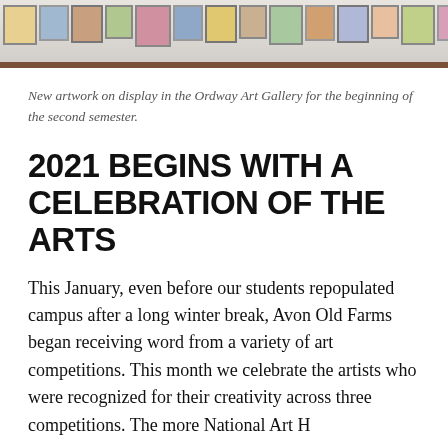[Figure (photo): Photograph of new artwork on display in the Ordway Art Gallery, showing framed pieces hanging on a wall.]
New artwork on display in the Ordway Art Gallery for the beginning of the second semester.
2021 BEGINS WITH A CELEBRATION OF THE ARTS
This January, even before our students repopulated campus after a long winter break, Avon Old Farms began receiving word from a variety of art competitions. This month we celebrate the artists who were recognized for their creativity across three competitions. The more National Art H...